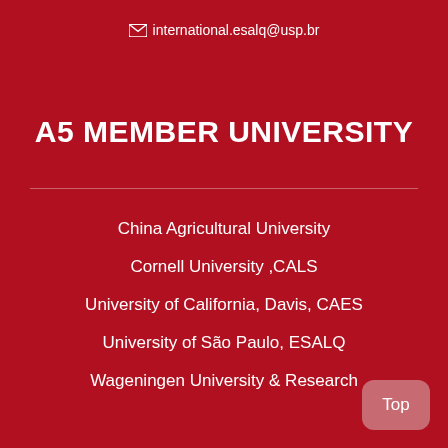✉ international.esalq@usp.br
A5 MEMBER UNIVERSITY
China Agricultural University
Cornell University ,CALS
University of California, Davis, CAES
University of São Paulo, ESALQ
Wageningen University & Research